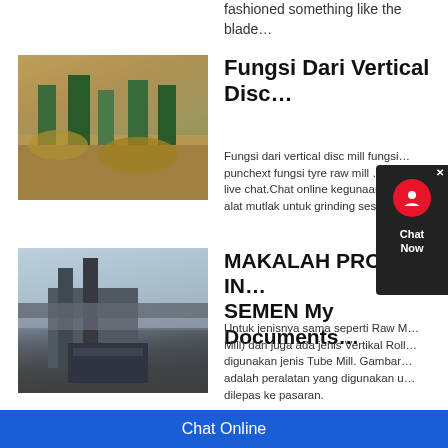fashioned something like the blade…
Fungsi Dari Vertical Disc…
[Figure (photo): Aerial view of a mining or quarrying site with industrial equipment and piles of material]
Fungsi dari vertical disc mill fungsi… punchext fungsi tyre raw mill … live chat.Chat online kegunaan… alat mutlak untuk grinding ses…
MAKALAH PROSES IN… SEMEN My Documents…
[Figure (photo): Industrial conveyor belt structure at a cement or mining facility]
Untuk jenisnya sama seperti Raw M… Mill) dan juga ada jenis Vertikal Roll… digunakan jenis Tube Mill. Gambar… adalah peralatan yang digunakan u… dilepas ke pasaran.
Chat Online